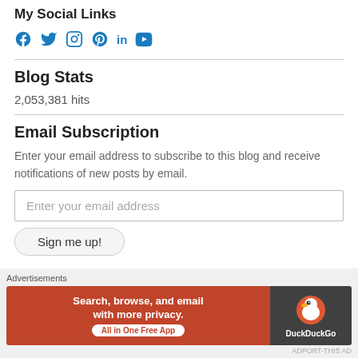My Social Links
[Figure (illustration): Social media icons: Facebook, Twitter, Instagram, Pinterest, LinkedIn, YouTube — all in blue]
Blog Stats
2,053,381 hits
Email Subscription
Enter your email address to subscribe to this blog and receive notifications of new posts by email.
Enter your email address
Sign me up!
Advertisements
[Figure (other): DuckDuckGo advertisement banner: Search, browse, and email with more privacy. All in One Free App]